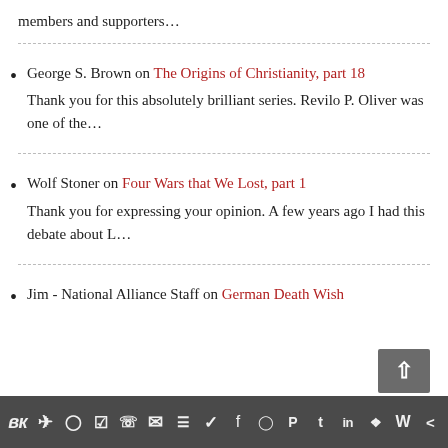members and supporters…
George S. Brown on The Origins of Christianity, part 18
Thank you for this absolutely brilliant series. Revilo P. Oliver was one of the…
Wolf Stoner on Four Wars that We Lost, part 1
Thank you for expressing your opinion. A few years ago I had this debate about L…
Jim - National Alliance Staff on German Death Wish
вк 📨 reddit WordPress WhatsApp mail layers twitter facebook instagram pinterest tumblr linkedin gift W share